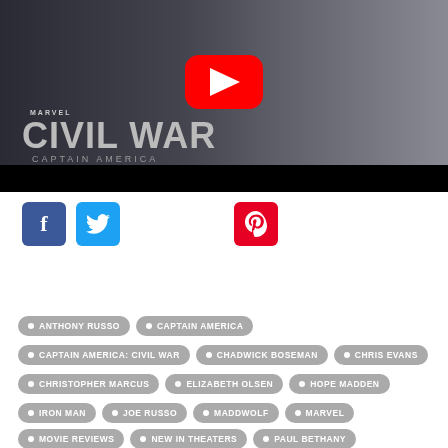[Figure (screenshot): YouTube video thumbnail for Captain America: Civil War showing Captain America in costume with Marvel Civil War logo and YouTube play button overlay]
[Figure (infographic): Social media sharing buttons: Facebook (blue), Twitter (light blue), and Pinterest (red)]
ANTHONY RUSSO
CAPTAIN AMERICA
CAPTAIN AMERICA: CIVIL WAR
CHADWICK BOSEMAN
CHRIS EVANS
CHRISTOPHER MARCUS
ELIZABETH OLSEN
HOPE MADDEN
IRON MAN
JOE RUSSO
MADDWOLF
MARVEL
MOVIE REVIEWS
NEW IN THEATERS
PAUL BETHANY
ROBERT DOWNEY JR
STEPHEN MCFEELY
SUPERHERO MOVIES